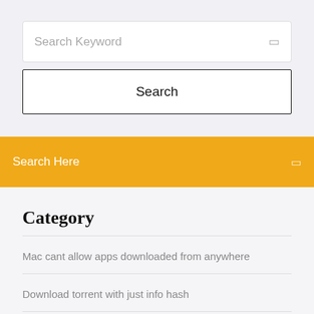Search Keyword
Search
Search Here
Category
Mac cant allow apps downloaded from anywhere
Download torrent with just info hash